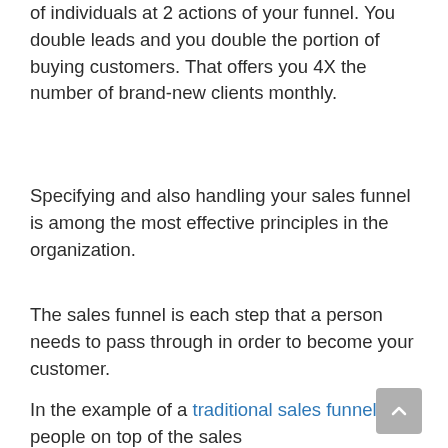of individuals at 2 actions of your funnel. You double leads and you double the portion of buying customers. That offers you 4X the number of brand-new clients monthly.
Specifying and also handling your sales funnel is among the most effective principles in the organization.
The sales funnel is each step that a person needs to pass through in order to become your customer.
In the example of a traditional sales funnel, the people on top of the sales